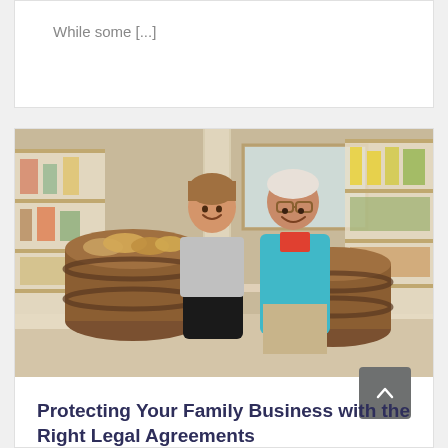While some [...]
[Figure (photo): A younger woman in a black apron and an older man in a teal sweater smiling together inside a bakery or deli shop, surrounded by wooden barrels filled with bread, shelves stocked with products in the background.]
Protecting Your Family Business with the Right Legal Agreements